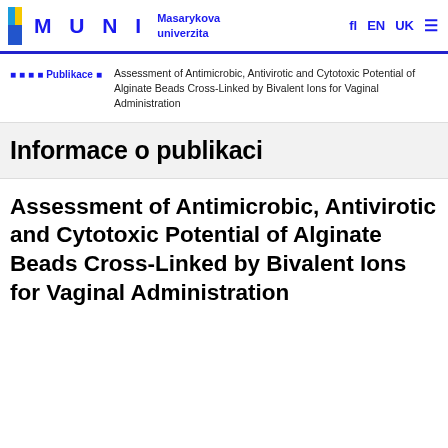MUNI Masarykova univerzita — fl EN UK
Assessment of Antimicrobic, Antivirotic and Cytotoxic Potential of Alginate Beads Cross-Linked by Bivalent Ions for Vaginal Administration
Publikace
Informace o publikaci
Assessment of Antimicrobic, Antivirotic and Cytotoxic Potential of Alginate Beads Cross-Linked by Bivalent Ions for Vaginal Administration